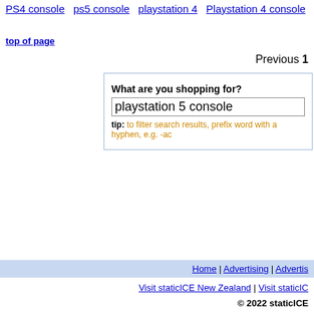PS4 console   ps5 console   playstation 4   Playstation 4 console   Playstation...
top of page
Previous 1
[Figure (screenshot): Search box with label 'What are you shopping for?', input containing 'playstation 5 console', and a tip about filtering search results with a hyphen prefix.]
Home | Advertising | Advertis... | Visit staticICE New Zealand | Visit staticIC... | © 2022 staticICE